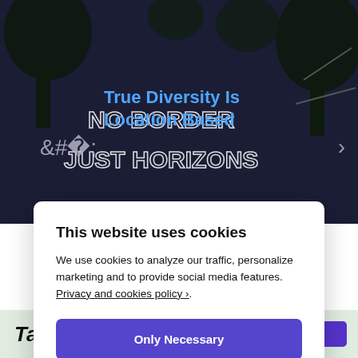[Figure (photo): Background photo of neon signs reading 'NO BORDERS JUST HORIZONS' on trees against a dark blue sky, with blue overlay title text 'True Diversity Is Location Based' and slider navigation arrows.]
True Diversity Is Location Based
This website uses cookies
We use cookies to analyze our traffic, personalize marketing and to provide social media features. Privacy and cookies policy ›.
Only Necessary
Allow All Cookies
Configure Settings ›
Tag: Carl Sagan astronomer